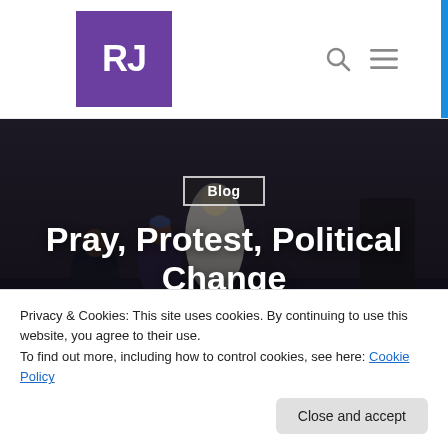RJ
[Figure (photo): A dark indoor scene showing several people seated on a stage, one in white robes, another at a podium at right, in a church or community event setting.]
Blog
Pray, Protest, Political Change
By Jes Kast | November 26, 2014 | No Comments
Privacy & Cookies: This site uses cookies. By continuing to use this website, you agree to their use.
To find out more, including how to control cookies, see here: Cookie Policy
Close and accept